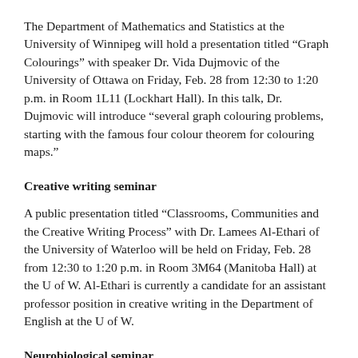The Department of Mathematics and Statistics at the University of Winnipeg will hold a presentation titled “Graph Colourings” with speaker Dr. Vida Dujmovic of the University of Ottawa on Friday, Feb. 28 from 12:30 to 1:20 p.m. in Room 1L11 (Lockhart Hall). In this talk, Dr. Dujmovic will introduce “several graph colouring problems, starting with the famous four colour theorem for colouring maps.”
Creative writing seminar
A public presentation titled “Classrooms, Communities and the Creative Writing Process” with Dr. Lamees Al-Ethari of the University of Waterloo will be held on Friday, Feb. 28 from 12:30 to 1:20 p.m. in Room 3M64 (Manitoba Hall) at the U of W. Al-Ethari is currently a candidate for an assistant professor position in creative writing in the Department of English at the U of W.
Neurobiological seminar